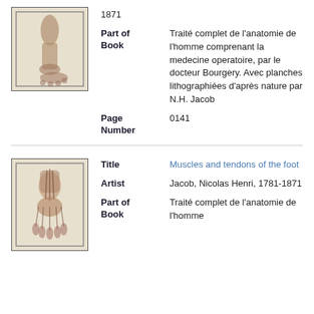[Figure (illustration): Anatomical illustration of foot/ankle from side view in an antique book plate style]
1871
Part of Book
Traité complet de l'anatomie de l'homme comprenant la medecine operatoire, par le docteur Bourgery. Avec planches lithographiées d'après nature par N.H. Jacob
Page Number
0141
[Figure (illustration): Anatomical illustration of muscles and tendons of the foot, viewed from front/top, antique lithograph style]
Title
Muscles and tendons of the foot
Artist
Jacob, Nicolas Henri, 1781-1871
Part of Book
Traité complet de l'anatomie de l'homme